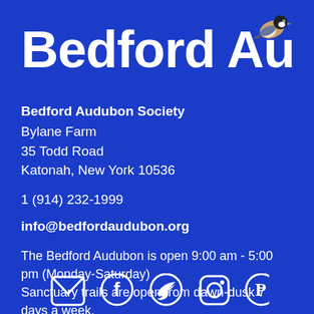Bedford Audubon
Bedford Audubon Society
Bylane Farm
35 Todd Road
Katonah, New York 10536
1 (914) 232-1999
info@bedfordaudubon.org
The Bedford Audubon is open 9:00 am - 5:00 pm (Monday-Saturday)
Sanctuary trails are open from dawn-dusk 7 days a week.
[Figure (illustration): Social media icons: email/envelope, Facebook, Twitter/bird, Instagram, Pinterest]